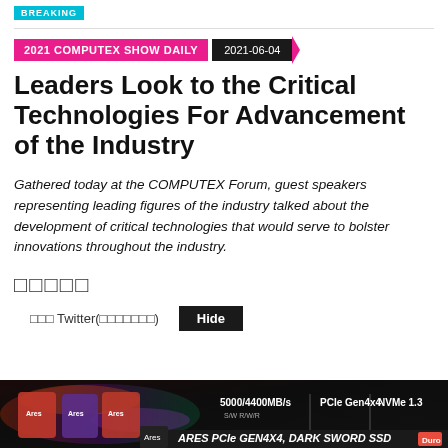BREAKING
2021 COMPUTEX SHOW DAILY  2021-06-04
Leaders Look to the Critical Technologies For Advancement of the Industry
Gathered today at the COMPUTEX Forum, guest speakers representing leading figures of the industry talked about the development of critical technologies that would serve to bolster innovations throughout the industry.
□□□□□
□□□ Twitter(□□□□□□□)
[Figure (photo): Advertisement banner for ARES PCIe GEN4X4 DARK SWORD SSD with specs: 5000/4400MB/s, PCIe Gen4x4, NVMe 1.3]